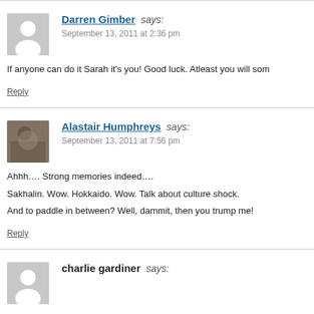Darren Gimber says: September 13, 2011 at 2:36 pm
If anyone can do it Sarah it's you! Good luck. Atleast you will som
Reply
Alastair Humphreys says: September 13, 2011 at 7:56 pm
Ahhh…. Strong memories indeed….
Sakhalin. Wow. Hokkaido. Wow. Talk about culture shock.
And to paddle in between? Well, dammit, then you trump me!
Reply
charlie gardiner says: